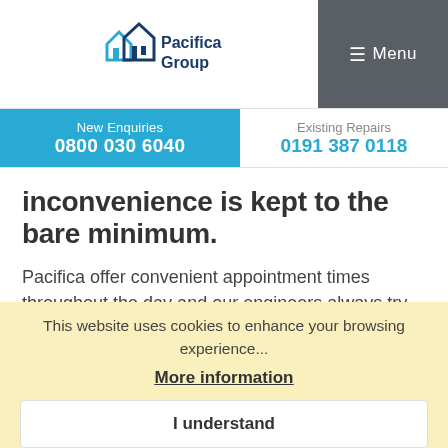[Figure (logo): Pacifica Group logo with stylized house icon in cyan and dark blue, with text 'Pacifica Group']
≡ Menu
New Enquiries
0800 030 6040
Existing Repairs
0191 387 0118
inconvenience is kept to the bare minimum.
Pacifica offer convenient appointment times throughout the day and our engineers always try to arrive at a customer's home promptly.
This website uses cookies to enhance your browsing experience...
More information
I understand